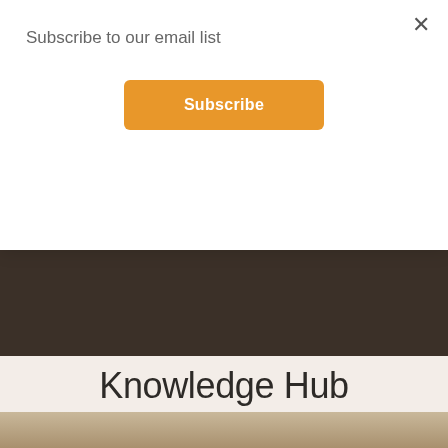Subscribe to our email list
×
Subscribe
BOOK A FREE DEMO
Knowledge Hub
Learn more about mental wellbeing and behaviour change for your business or school.
[Figure (photo): Bottom strip showing a photo preview, partially visible]